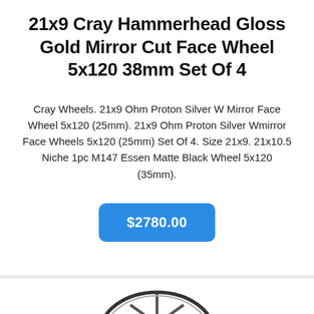21x9 Cray Hammerhead Gloss Gold Mirror Cut Face Wheel 5x120 38mm Set Of 4
Cray Wheels. 21x9 Ohm Proton Silver W Mirror Face Wheel 5x120 (25mm). 21x9 Ohm Proton Silver Wmirror Face Wheels 5x120 (25mm) Set Of 4. Size 21x9. 21x10.5 Niche 1pc M147 Essen Matte Black Wheel 5x120 (35mm).
$2780.00
[Figure (photo): Partial view of a wheel/rim from below, showing spokes in black and silver against a white background.]